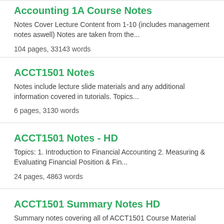Accounting 1A Course Notes
Notes Cover Lecture Content from 1-10 (includes management notes aswell) Notes are taken from the...
104 pages, 33143 words
ACCT1501 Notes
Notes include lecture slide materials and any additional information covered in tutorials. Topics...
6 pages, 3130 words
ACCT1501 Notes - HD
Topics: 1. Introduction to Financial Accounting 2. Measuring & Evaluating Financial Position & Fin...
24 pages, 4863 words
ACCT1501 Summary Notes HD
Summary notes covering all of ACCT1501 Course Material from Semester 1, 2018 Topics Covered: 1. I...